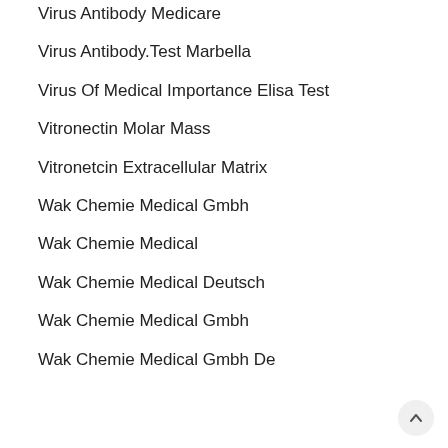Virus Antibody Medicare
Virus Antibody.Test Marbella
Virus Of Medical Importance Elisa Test
Vitronectin Molar Mass
Vitronetcin Extracellular Matrix
Wak Chemie Medical Gmbh
Wak Chemie Medical
Wak Chemie Medical Deutsch
Wak Chemie Medical Gmbh
Wak Chemie Medical Gmbh De